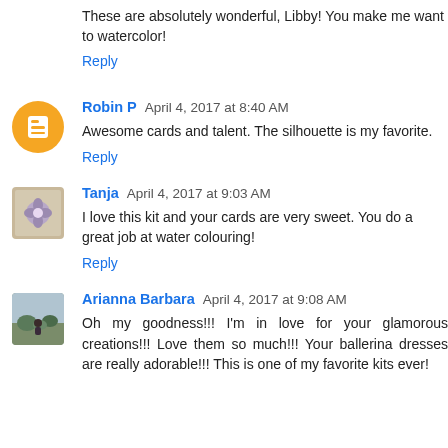These are absolutely wonderful, Libby! You make me want to watercolor!
Reply
Robin P  April 4, 2017 at 8:40 AM
Awesome cards and talent. The silhouette is my favorite.
Reply
Tanja  April 4, 2017 at 9:03 AM
I love this kit and your cards are very sweet. You do a great job at water colouring!
Reply
Arianna Barbara  April 4, 2017 at 9:08 AM
Oh my goodness!!! I'm in love for your glamorous creations!!! Love them so much!!! Your ballerina dresses are really adorable!!! This is one of my favorite kits ever!